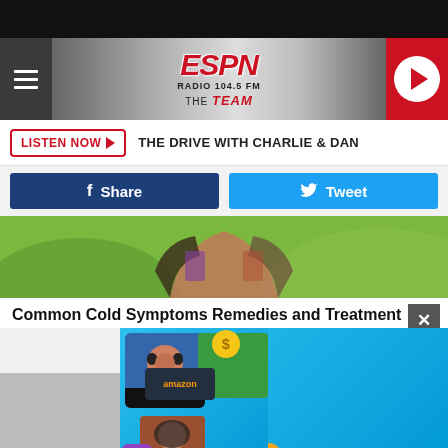[Figure (screenshot): ESPN Radio 104.5 FM The Team website header with hamburger menu, ESPN logo, and red play button]
LISTEN NOW ▶  THE DRIVE WITH CHARLIE & DAN
[Figure (screenshot): Facebook Share and Twitter Tweet social media buttons]
[Figure (photo): Partial photo of person with arms raised against green outdoor background]
Common Cold Symptoms Remedies and Treatment
Col...
[Figure (screenshot): Crowdtap advertisement - Take surveys. Get rewarded. Get all-summer-long rewards with Crowdtap - Get Started button]
[Figure (photo): Bottom images partially visible]